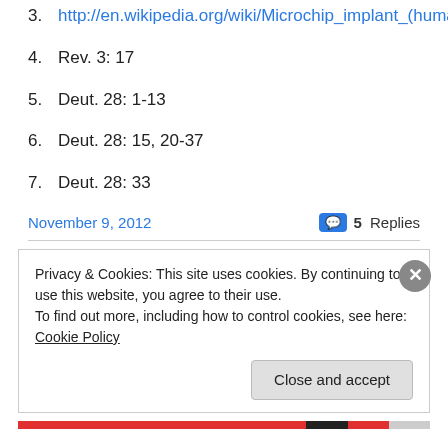3. http://en.wikipedia.org/wiki/Microchip_implant_(human)
4. Rev. 3: 17
5. Deut. 28: 1-13
6. Deut. 28: 15, 20-37
7. Deut. 28: 33
November 9, 2012    💬 5 Replies
Privacy & Cookies: This site uses cookies. By continuing to use this website, you agree to their use. To find out more, including how to control cookies, see here: Cookie Policy